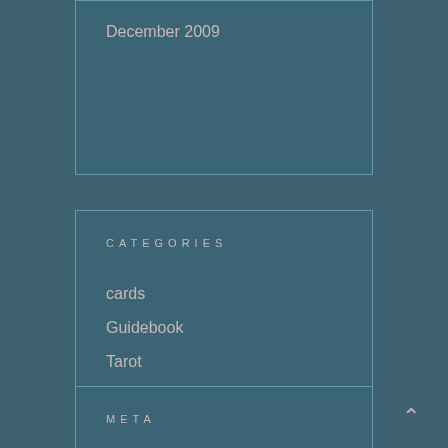December 2009
CATEGORIES
cards
Guidebook
Tarot
Uncategorized
META
Log in